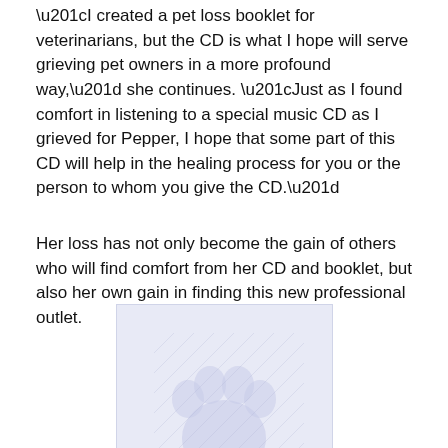“I created a pet loss booklet for veterinarians, but the CD is what I hope will serve grieving pet owners in a more profound way,” she continues. “Just as I found comfort in listening to a special music CD as I grieved for Pepper, I hope that some part of this CD will help in the healing process for you or the person to whom you give the CD.”
Her loss has not only become the gain of others who will find comfort from her CD and booklet, but also her own gain in finding this new professional outlet.
[Figure (illustration): A faint light blue paw print illustration on a light blue background, resembling a dog paw.]
Dog Paw Illustration